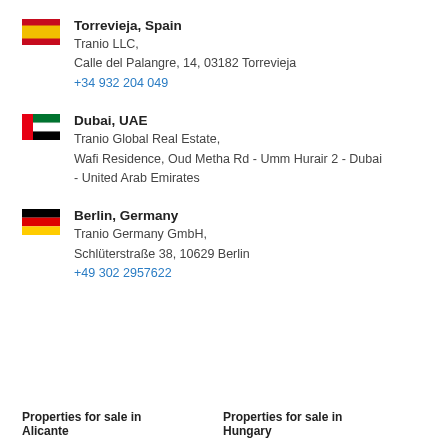Torrevieja, Spain
Tranio LLC,
Calle del Palangre, 14, 03182 Torrevieja
+34 932 204 049
Dubai, UAE
Tranio Global Real Estate,
Wafi Residence, Oud Metha Rd - Umm Hurair 2 - Dubai - United Arab Emirates
Berlin, Germany
Tranio Germany GmbH,
Schlüterstraße 38, 10629 Berlin
+49 302 2957622
Properties for sale in Alicante    Properties for sale in Hungary